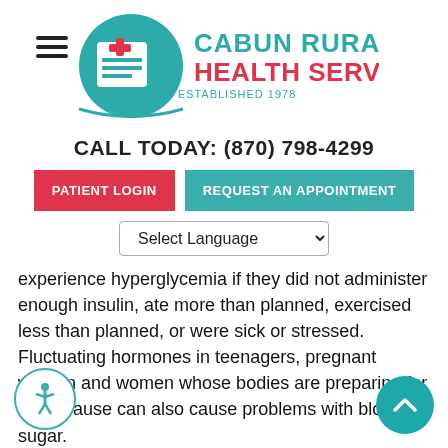[Figure (logo): Cabun Rural Health Services logo with teal circle, red cross/document icon, teal and red text reading CABUN RURAL HEALTH SERVICES ESTABLISHED 1978]
CALL TODAY: (870) 798-4299
PATIENT LOGIN
REQUEST AN APPOINTMENT
Select Language
experience hyperglycemia if they did not administer enough insulin, ate more than planned, exercised less than planned, or were sick or stressed.  Fluctuating hormones in teenagers, pregnant women and women whose bodies are preparing for menopause can also cause problems with blood sugar.
Some medications will cause hyperglycemia. Cortisone and other steroids…